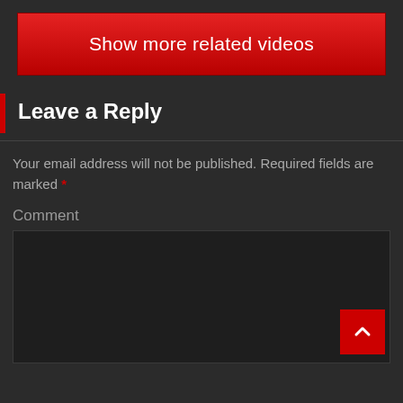[Figure (other): Red button labeled 'Show more related videos']
Leave a Reply
Your email address will not be published. Required fields are marked *
Comment
[Figure (other): Comment text area input box with a red scroll-to-top arrow button in the bottom right corner]